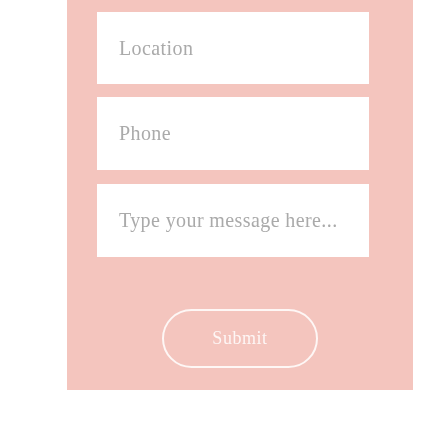[Figure (screenshot): A contact form UI on a pink background with three white input fields labeled Location, Phone, and Type your message here..., and a rounded Submit button with a white outline border.]
Location
Phone
Type your message here...
Submit